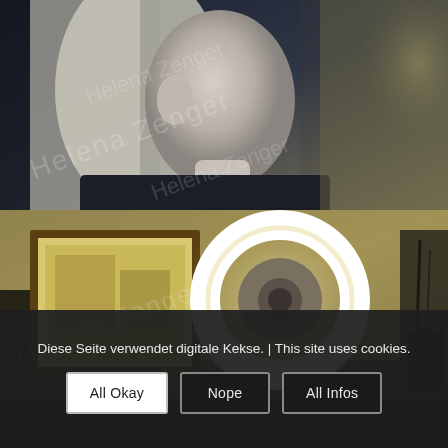[Figure (photo): Close-up side profile of a person with light blonde hair and pale skin against a blurred background with dark and light areas. A watermark reading 'Helena Zenger' is overlaid in a diagonal pattern.]
[Figure (photo): Interior room scene with warm yellow tones showing a wall with framed artwork on the left, a bright circular ring light in the center, and equipment/cables on the right side. A watermark reading 'Helena Zenger' appears diagonally.]
Diese Seite verwendet digitale Kekse. | This site uses cookies.
All Okay
Nope
All Infos